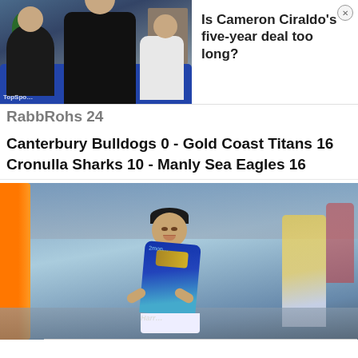[Figure (photo): Photo of rugby league players in a room, sitting on a couch, with a tall player standing, and shelves in the background]
Is Cameron Ciraldo's five-year deal too long?
RabbRohs 24
Canterbury Bulldogs 0 - Gold Coast Titans 16
Cronulla Sharks 10 - Manly Sea Eagles 16
[Figure (photo): Rugby league player in a Gold Coast Titans blue and gold jersey, leaning forward on a rugby field, with an orange goal post on the left and blurred stadium seating in the background]